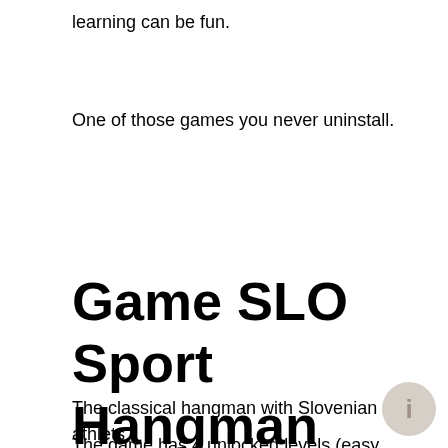learning can be fun.
One of those games you never uninstall.
Game SLO Sport Hangman
The classical hangman with Slovenian athlets.
The game has 4 unlocked levels (easy...